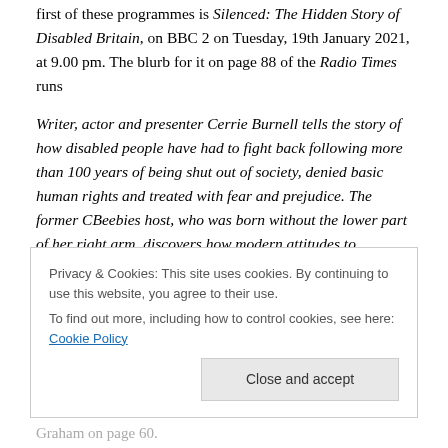first of these programmes is Silenced: The Hidden Story of Disabled Britain, on BBC 2 on Tuesday, 19th January 2021, at 9.00 pm. The blurb for it on page 88 of the Radio Times runs
Writer, actor and presenter Cerrie Burnell tells the story of how disabled people have had to fight back following more than 100 years of being shut out of society, denied basic human rights and treated with fear and prejudice. The former CBeebies host, who was born without the lower part of her right arm, discovers how modern attitudes to
Privacy & Cookies: This site uses cookies. By continuing to use this website, you agree to their use.
To find out more, including how to control cookies, see here: Cookie Policy
Graham on page 60.